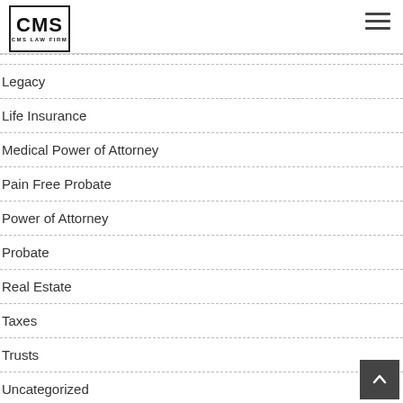CMS Law Firm
Legacy
Life Insurance
Medical Power of Attorney
Pain Free Probate
Power of Attorney
Probate
Real Estate
Taxes
Trusts
Uncategorized